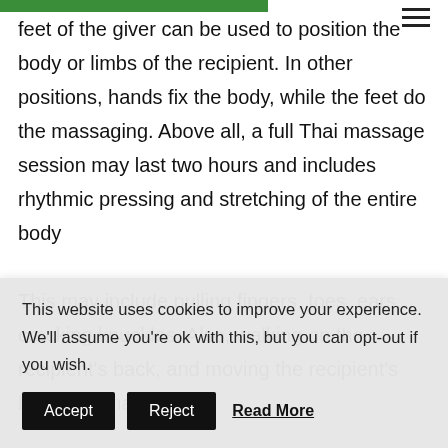feet of the giver can be used to position the body or limbs of the recipient. In other positions, hands fix the body, while the feet do the massaging. Above all, a full Thai massage session may last two hours and includes rhythmic pressing and stretching of the entire body
This may include pulling fingers, toes, ears, cracking knuckles. Also, walking on the recipient's back, and moving the recipient's body into many
This website uses cookies to improve your experience. We'll assume you're ok with this, but you can opt-out if you wish.